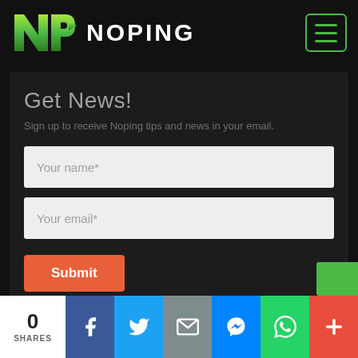[Figure (logo): NoPing logo with green N and P letters and white NOPING text]
Get News!
Sign up to receive Noping tips and news in your email.
Your name*
Your email*
Submit
0 SHARES